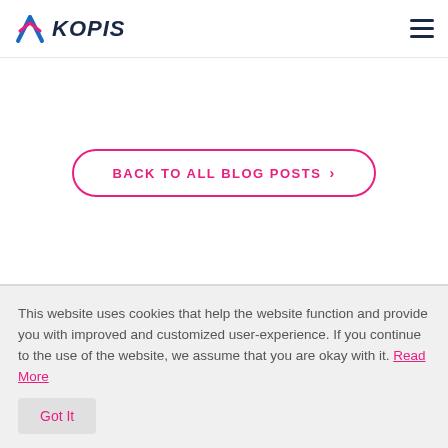KOPIS
BACK TO ALL BLOG POSTS >
Search...
This website uses cookies that help the website function and provide you with improved and customized user-experience. If you continue to the use of the website, we assume that you are okay with it. Read More
Got It